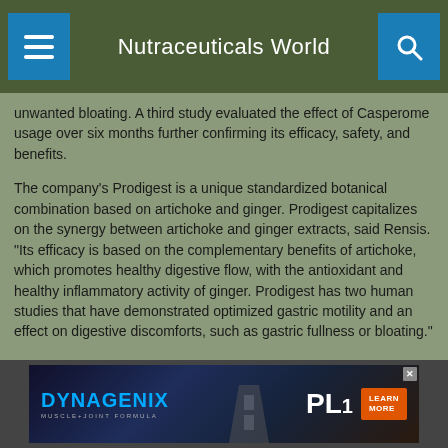Nutraceuticals World
unwanted bloating. A third study evaluated the effect of Casperome usage over six months further confirming its efficacy, safety, and benefits.
The company's Prodigest is a unique standardized botanical combination based on artichoke and ginger. Prodigest capitalizes on the synergy between artichoke and ginger extracts, said Rensis. "Its efficacy is based on the complementary benefits of artichoke, which promotes healthy digestive flow, with the antioxidant and healthy inflammatory activity of ginger. Prodigest has two human studies that have demonstrated optimized gastric motility and an effect on digestive discomforts, such as gastric fullness or bloating."
[Figure (screenshot): DYNAGENIX advertisement banner with logo and LEARN MORE button]